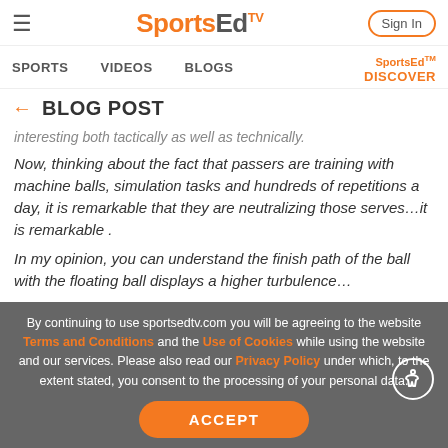SportsEdTV — Sign In
SPORTS   VIDEOS   BLOGS   SportsEd DISCOVER
← BLOG POST
interesting both tactically as well as technically.
Now, thinking about the fact that passers are training with machine balls, simulation tasks and hundreds of repetitions a day, it is remarkable that they are neutralizing those serves…it is remarkable .
In my opinion, you can understand the finish path of the ball with the floating ball displays a higher turbulence…
By continuing to use sportsedtv.com you will be agreeing to the website Terms and Conditions and the Use of Cookies while using the website and our services. Please also read our Privacy Policy under which, to the extent stated, you consent to the processing of your personal data.
ACCEPT